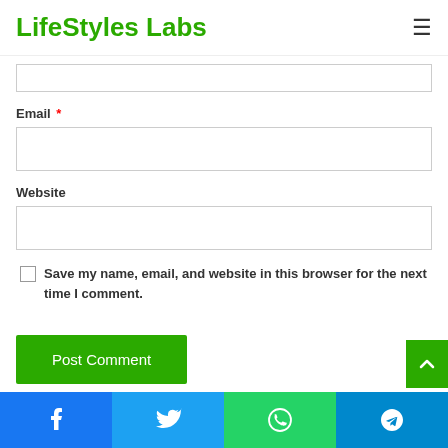LifeStyles Labs
Email *
Website
Save my name, email, and website in this browser for the next time I comment.
Post Comment
Facebook | Twitter | WhatsApp | Telegram